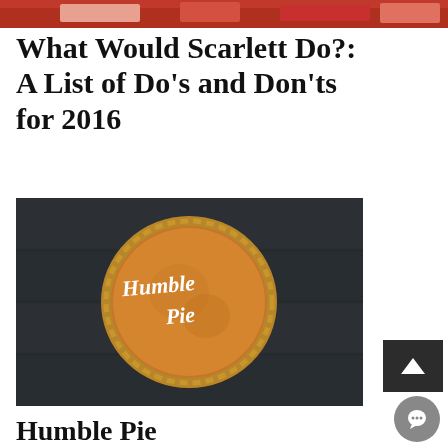[Figure (photo): Partial top strip of a photo showing a colorful scene with red tones]
What Would Scarlett Do?: A List of Do's and Don'ts for 2016
[Figure (photo): Overhead photo of a round pie with crimped crust on a dark wooden background, with 'Humble Pie' written on it in white cursive frosting/icing]
Humble Pie